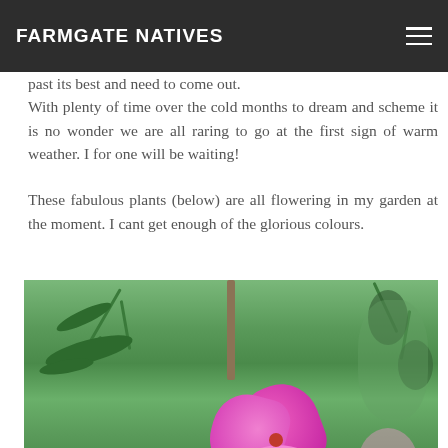FARMGATE NATIVES
past its best and need to come out. With plenty of time over the cold months to dream and scheme it is no wonder we are all raring to go at the first sign of warm weather. I for one will be waiting!

These fabulous plants (below) are all flowering in my garden at the moment. I cant get enough of the glorious colours.
[Figure (photo): Close-up photograph of a bright magenta/pink native pea flower blooming among green foliage and stems in a garden setting.]